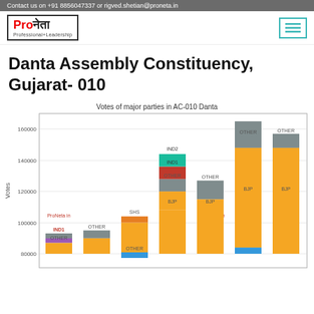Contact us on +91 8856047337 or rigved.shetian@proneta.in
[Figure (logo): ProNeta logo - Professional+Leadership]
Danta Assembly Constituency, Gujarat- 010
[Figure (stacked-bar-chart): Votes of major parties in AC-010 Danta]